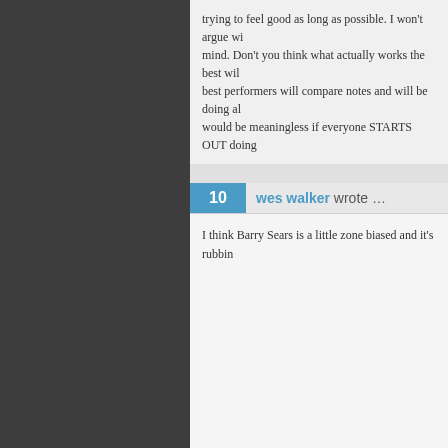trying to feel good as long as possible. I won't argue wi... mind. Don't you think what actually works the best wil... best performers will compare notes and will be doing al... would be meaningless if everyone STARTS OUT doing...
wes walker wrote …
I think Barry Sears is a little zone biased and it's rubbin...
Charles Olson wrote …
It would be nice to have a paleo expert speak up, ummm... guess i need to check out a free blog.